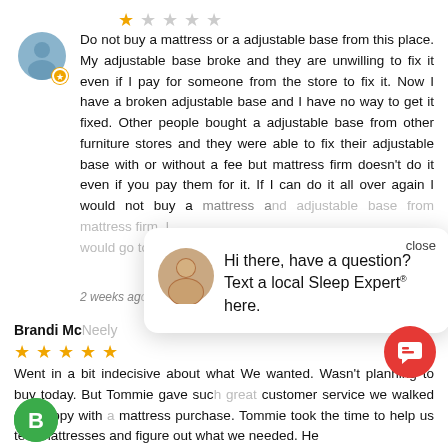[Figure (other): 1-star rating (1 filled star, 4 empty stars) in orange/grey]
Do not buy a mattress or a adjustable base from this place. My adjustable base broke and they are unwilling to fix it even if I pay for someone from the store to fix it. Now I have a broken adjustable base and I have no way to get it fixed. Other people bought a adjustable base from other furniture stores and they were able to fix their adjustable base with or without a fee but mattress firm doesn't do it even if you pay them for it. If I can do it all over again I would not buy a mattress and adjustable base from mattress firm. I would go to a reputable furniture store.
2 weeks ago
Brandi McNeely
[Figure (other): 5-star rating (5 filled stars) in orange]
Went in a bit indecisive about what We wanted. Wasn't planning to buy today. But Tommie gave such great customer service we walked out happy with a mattress purchase. Tommie took the time to help us test mattresses and figure out what we needed. He
[Figure (other): Chat popup overlay with avatar of woman and text: Hi there, have a question? Text a local Sleep Expert® here. With close button.]
[Figure (other): Red circular chat button with message icon]